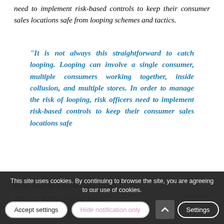need to implement risk-based controls to keep their consumer sales locations safe from looping schemes and tactics.
“It is not always this straightforward to catch looping. Looping can involve a single consumer, multiple consumers working together, inside collusion, and multiple stores. In order to manage the risk of looping, risk officers need to implement risk-based controls to keep their consumer sales locations safe from looping schemes and tactics.”
How to Reduce your high-risk commercial cannabis business owners or executives’
This site uses cookies. By continuing to browse the site, you are agreeing to our use of cookies.